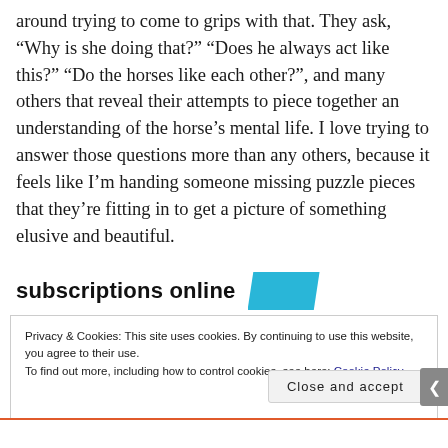around trying to come to grips with that. They ask, “Why is she doing that?” “Does he always act like this?” “Do the horses like each other?”, and many others that reveal their attempts to piece together an understanding of the horse’s mental life. I love trying to answer those questions more than any others, because it feels like I’m handing someone missing puzzle pieces that they’re fitting in to get a picture of something elusive and beautiful.
subscriptions online
Privacy & Cookies: This site uses cookies. By continuing to use this website, you agree to their use.
To find out more, including how to control cookies, see here: Cookie Policy
Close and accept